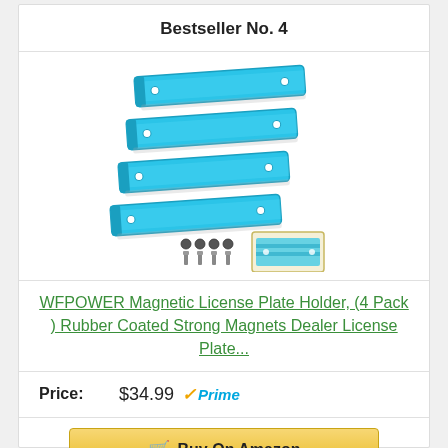Bestseller No. 4
[Figure (photo): WFPOWER Magnetic License Plate Holder product image showing four blue magnetic strips/holders and small hardware accessories]
WFPOWER Magnetic License Plate Holder, (4 Pack ) Rubber Coated Strong Magnets Dealer License Plate...
Price: $34.99 ✓Prime
Buy On Amazon